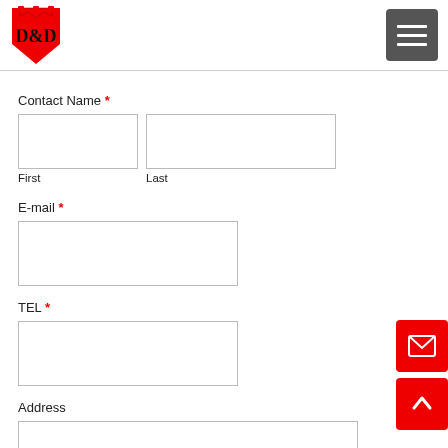[Figure (logo): D&D company logo with red shield and crown]
Contact Name *
First
Last
E-mail *
TEL *
Address